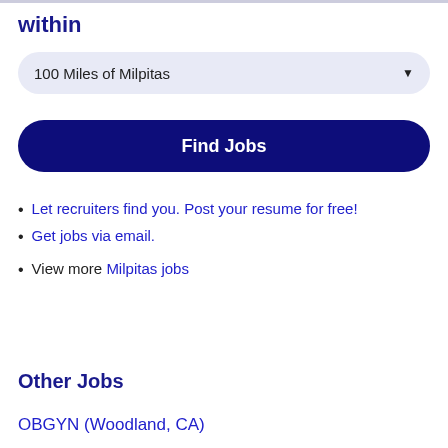within
100 Miles of Milpitas
Find Jobs
Let recruiters find you. Post your resume for free!
Get jobs via email.
View more Milpitas jobs
Other Jobs
OBGYN (Woodland, CA)